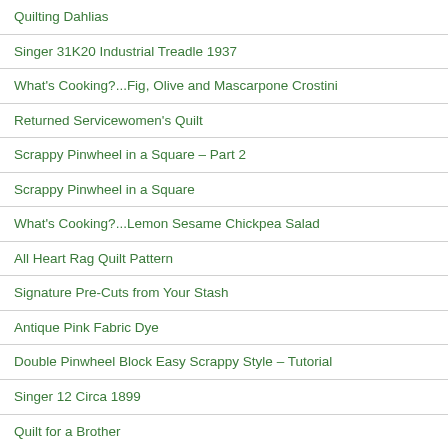Quilting Dahlias
Singer 31K20 Industrial Treadle 1937
What's Cooking?...Fig, Olive and Mascarpone Crostini
Returned Servicewomen's Quilt
Scrappy Pinwheel in a Square – Part 2
Scrappy Pinwheel in a Square
What's Cooking?...Lemon Sesame Chickpea Salad
All Heart Rag Quilt Pattern
Signature Pre-Cuts from Your Stash
Antique Pink Fabric Dye
Double Pinwheel Block Easy Scrappy Style – Tutorial
Singer 12 Circa 1899
Quilt for a Brother